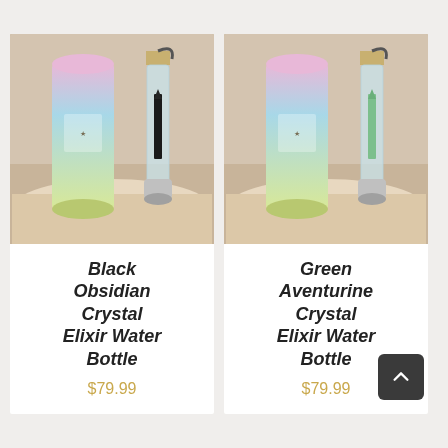[Figure (photo): Black Obsidian Crystal Elixir Water Bottle product photo showing a glass bottle with black crystal insert and stainless steel base, next to a pink-to-blue-to-yellow gradient cylindrical gift box on a wooden table]
Black Obsidian Crystal Elixir Water Bottle
$79.99
[Figure (photo): Green Aventurine Crystal Elixir Water Bottle product photo showing a glass bottle with green crystal insert and stainless steel base, next to a pink-to-blue-to-yellow gradient cylindrical gift box on a wooden table]
Green Aventurine Crystal Elixir Water Bottle
$79.99